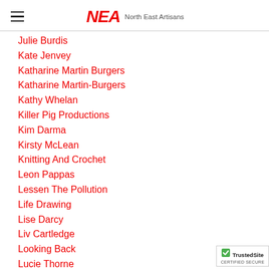NEA North East Artisans
Julie Burdis
Kate Jenvey
Katharine Martin Burgers
Katharine Martin-Burgers
Kathy Whelan
Killer Pig Productions
Kim Darma
Kirsty McLean
Knitting And Crochet
Leon Pappas
Lessen The Pollution
Life Drawing
Lise Darcy
Liv Cartledge
Looking Back
Lucie Thorne
Luke Davies
[Figure (logo): TrustedSite Certified Secure badge]